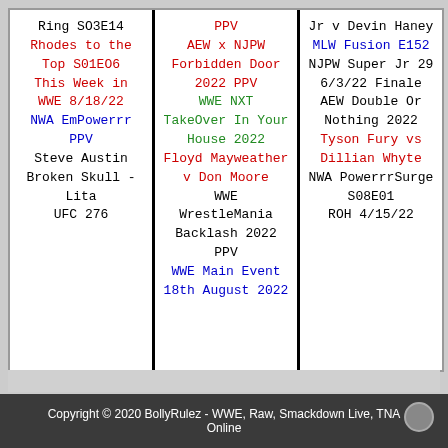Ring SO3E14
Rhodes to the Top S01EO6
This Week in WWE 8/18/22
NWA EmPowerrr PPV
Steve Austin Broken Skull - Lita
UFC 276
PPV
AEW x NJPW Forbidden Door 2022 PPV
WWE NXT TakeOver In Your House 2022
Floyd Mayweather v Don Moore
WWE WrestleMania Backlash 2022 PPV
WWE Main Event 18th August 2022
Jr v Devin Haney
MLW Fusion E152
NJPW Super Jr 29 6/3/22 Finale
AEW Double Or Nothing 2022
Tyson Fury vs Dillian Whyte
NWA PowerrrSurge S08E01
ROH 4/15/22
Copyright © 2020 BollyRulez - WWE, Raw, Smackdown Live, TNA Online